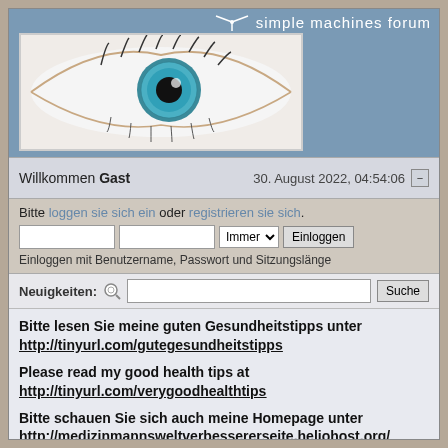[Figure (screenshot): Simple Machines Forum header with logo (propeller/fan icon) and text 'simple machines forum' on blue background, with a close-up eye photo banner below]
Willkommen Gast    30. August 2022, 04:54:06
Bitte loggen sie sich ein oder registrieren sie sich.
Einloggen mit Benutzername, Passwort und Sitzungslänge
Neuigkeiten:
Bitte lesen Sie meine guten Gesundheitstipps unter http://tinyurl.com/gutegesundheitstipps

Please read my good health tips at http://tinyurl.com/verygoodhealthtips

Bitte schauen Sie sich auch meine Homepage unter http://medizinmannsweltvebessererseite.heliohost.org/ an bzw. suchen Sie nach "Medizinmanns Weltvebessererseite". Please also check out my